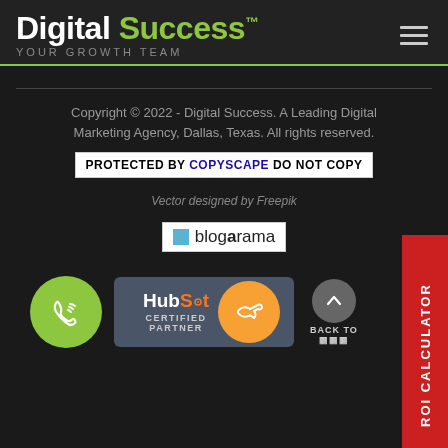[Figure (logo): Digital Success logo with green 'Success' text and tagline 'YOUR GROWTH TEAM']
Copyright © 2022 - Digital Success. A Leading Digital Marketing Agency, Dallas, Texas. All rights reserved.
[Figure (logo): Protected by Copyscape Do Not Copy badge]
Vector designed by Freepik
[Figure (logo): Blogarama badge]
[Figure (logo): HubSpot Certified Partner badge with phone icon circle]
[Figure (other): ROI Calculator red vertical tab on right side]